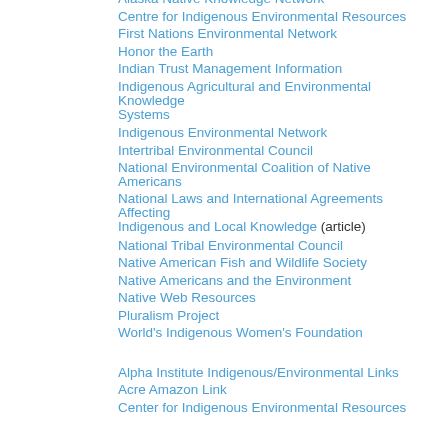Alaska Native Knowledge Network
Centre for Indigenous Environmental Resources
First Nations Environmental Network
Honor the Earth
Indian Trust Management Information
Indigenous Agricultural and Environmental Knowledge Systems
Indigenous Environmental Network
Intertribal Environmental Council
National Environmental Coalition of Native Americans
National Laws and International Agreements Affecting Indigenous and Local Knowledge (article)
National Tribal Environmental Council
Native American Fish and Wildlife Society
Native Americans and the Environment
Native Web Resources
Pluralism Project
World's Indigenous Women's Foundation
Alpha Institute Indigenous/Environmental Links
Acre Amazon Link
Center for Indigenous Environmental Resources